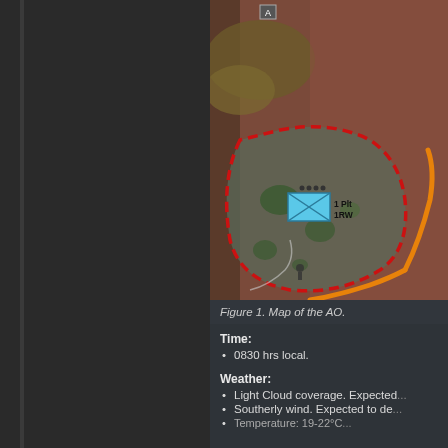[Figure (map): Military tactical map showing an Area of Operations (AO). The map displays terrain with reddish-brown and green areas. A red dashed boundary outlines the AO zone. An orange road/path curves through the right side. A blue unit symbol (square with X) labeled '1 Plt 1RW' with four dots above it is visible near the center-bottom of the AO. A small icon 'A' is visible at the top.]
Figure 1. Map of the AO.
Time:
0830 hrs local.
Weather:
Light Cloud coverage. Expected...
Southerly wind. Expected to de...
Temperature: 19-22°C...